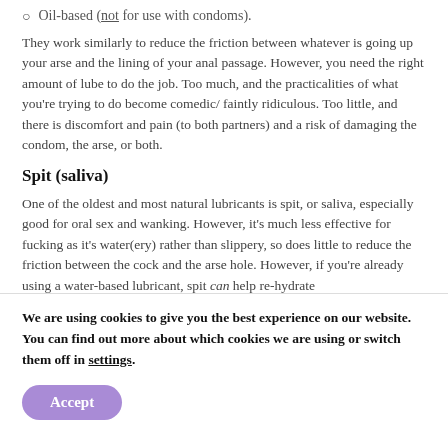Oil-based (not for use with condoms).
They work similarly to reduce the friction between whatever is going up your arse and the lining of your anal passage. However, you need the right amount of lube to do the job. Too much, and the practicalities of what you're trying to do become comedic/ faintly ridiculous. Too little, and there is discomfort and pain (to both partners) and a risk of damaging the condom, the arse, or both.
Spit (saliva)
One of the oldest and most natural lubricants is spit, or saliva, especially good for oral sex and wanking. However, it's much less effective for fucking as it's water(ery) rather than slippery, so does little to reduce the friction between the cock and the arse hole. However, if you're already using a water-based lubricant, spit can help re-hydrate the lubricant...
We are using cookies to give you the best experience on our website. You can find out more about which cookies we are using or switch them off in settings.